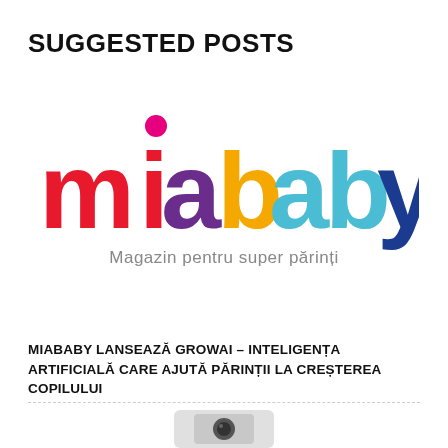SUGGESTED POSTS
[Figure (logo): Miababy colorful logo with multicolored letters spelling 'miababy' and subtitle 'Magazin pentru super părinți']
MIABABY LANSEAZĂ GROWAI – INTELIGENȚA ARTIFICIALĂ CARE AJUTĂ PĂRINȚII LA CREȘTEREA COPILULUI
[Figure (photo): Bottom portion of a device/product image, partially cropped]